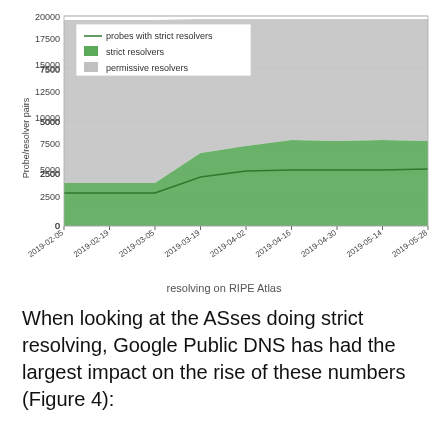[Figure (area-chart): ]
resolving on RIPE Atlas
When looking at the ASses doing strict resolving, Google Public DNS has had the largest impact on the rise of these numbers (Figure 4):